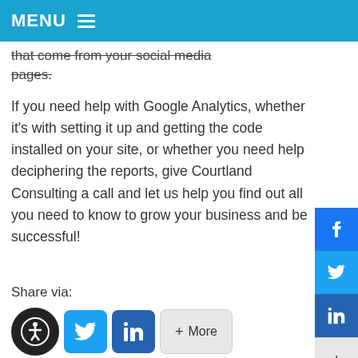MENU
that come from your social media pages.
If you need help with Google Analytics, whether it's with setting it up and getting the code installed on your site, or whether you need help deciphering the reports, give Courtland Consulting a call and let us help you find out all you need to know to grow your business and be successful!
Share via:
[Figure (infographic): Row of share buttons: accessibility icon (dark circle), Twitter bird (blue rounded square), LinkedIn 'in' (dark blue rounded square), and a '+  More' light grey button]